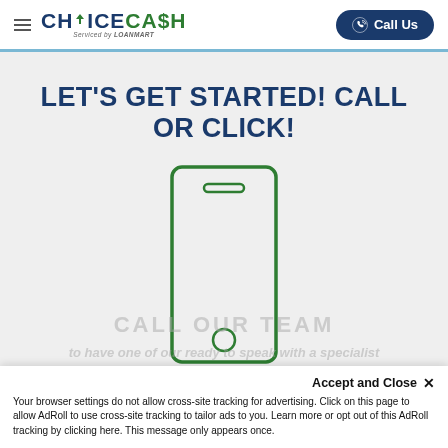CHOICECASH Serviced by LOANMART | Call Us
LET'S GET STARTED! CALL OR CLICK!
[Figure (illustration): Simple outline illustration of a smartphone with a small rectangle at the top and a circle button at the bottom, drawn in green lines on a light grey background.]
CALL OUR TEAM
to have one of our ready to speak with a specialist
Accept and Close ✕
Your browser settings do not allow cross-site tracking for advertising. Click on this page to allow AdRoll to use cross-site tracking to tailor ads to you. Learn more or opt out of this AdRoll tracking by clicking here. This message only appears once.